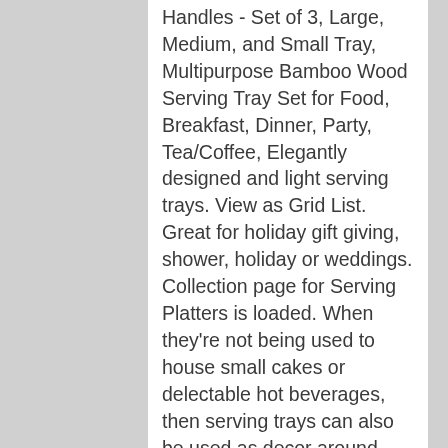Handles - Set of 3, Large, Medium, and Small Tray, Multipurpose Bamboo Wood Serving Tray Set for Food, Breakfast, Dinner, Party, Tea/Coffee, Elegantly designed and light serving trays. View as Grid List. Great for holiday gift giving, shower, holiday or weddings. Collection page for Serving Platters is loaded. When they're not being used to house small cakes or delectable hot beverages, then serving trays can also be used as decor around your home. 3. Sep 24, 2018 - Explore Cheryl Wolfenbarger's board "Decorative Serving Trays", followed by 608 people on Pinterest. All categories Cancel Free shipping over $149* Login View cart. Click & Collect. This tray features crystal beads to contain the contents and has a mirrored surface.